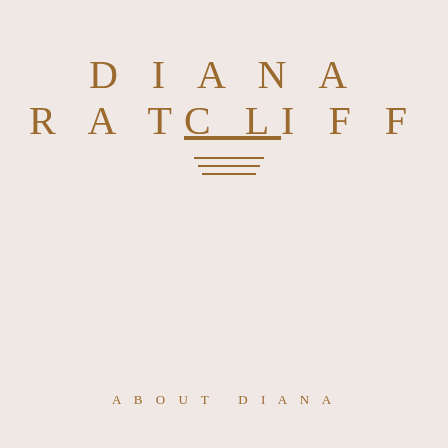DIANA RATCLIFF
[Figure (illustration): Three horizontal decorative lines in gold/brown color, centered below the title text, forming a simple ornamental divider]
ABOUT DIANA